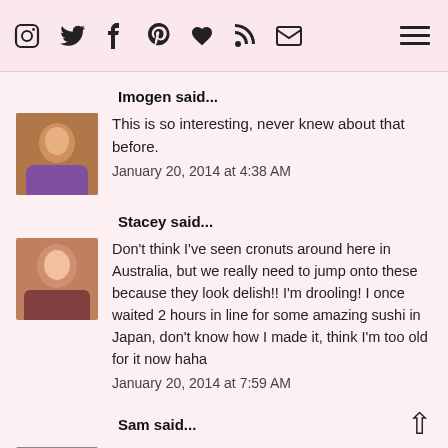Instagram Twitter Facebook Pinterest Bloglovin RSS Email [hamburger menu]
Imogen said...
This is so interesting, never knew about that before.
January 20, 2014 at 4:38 AM
Stacey said...
Don't think I've seen cronuts around here in Australia, but we really need to jump onto these because they look delish!! I'm drooling! I once waited 2 hours in line for some amazing sushi in Japan, don't know how I made it, think I'm too old for it now haha
January 20, 2014 at 7:59 AM
Sam said...
I have only heard of the cronut before but this is the first time I am actually seeing one. I would be really